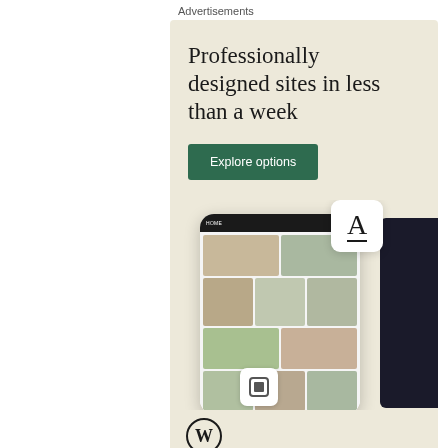Advertisements
[Figure (screenshot): WordPress advertisement banner with beige/cream background. Large serif text reads 'Professionally designed sites in less than a week'. Green button labeled 'Explore options'. WordPress logo (W in circle) at bottom left. Phone mockup screenshots of a food/recipe website on the right side. Small card with letter 'A' and another small card visible.]
REPORT THIS AD
Moto E has been getting rave reviews from all over. It is a clear step-up from feature-phones and is the perfect device for any first-time smartphone buyer with a tight budget. The phone comes with 4.3 inch qHD display, 1GB of